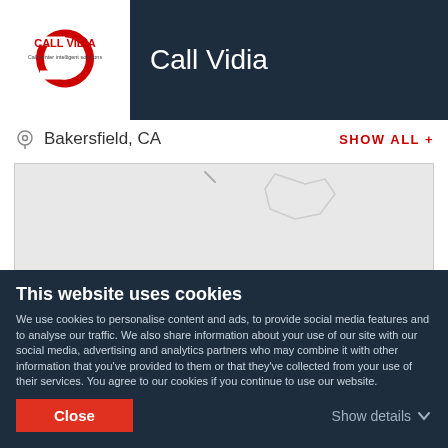[Figure (logo): Call Vidia logo - red and white C shape with text 'CALL VIDIA' and subtitle 'Call center intelligent solutions']
Call Vidia
Bakersfield, CA
SHOW ALL +
[Figure (map): Google Maps view showing Bakersfield city with a red location pin, interstate 5 shield marker visible, light gray map style]
This website uses cookies
We use cookies to personalise content and ads, to provide social media features and to analyse our traffic. We also share information about your use of our site with our social media, advertising and analytics partners who may combine it with other information that you've provided to them or that they've collected from your use of their services. You agree to our cookies if you continue to use our website.
Close
Show details